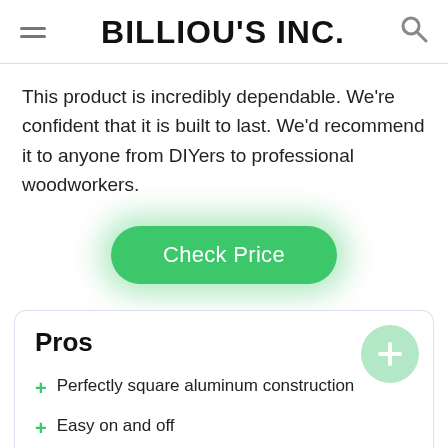BILLIOU'S INC.
This product is incredibly dependable. We're confident that it is built to last. We'd recommend it to anyone from DIYers to professional woodworkers.
[Figure (other): Green rounded 'Check Price' button with green glow effect]
Pros
Perfectly square aluminum construction
Easy on and off
Compatible with any 11 ⅛ to 11 13/16 inch